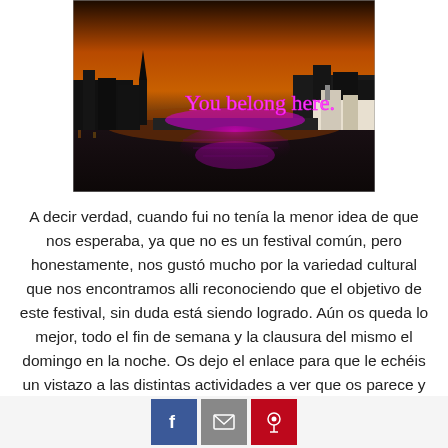[Figure (photo): Nighttime photo of a city waterfront at dusk/sunset with orange sky, dark water reflections, a boat on the right, and pink/purple neon script lettering reading 'You belong here' illuminated on a floating platform with pink/magenta light reflecting in the water.]
A decir verdad, cuando fui no tenía la menor idea de que nos esperaba, ya que no es un festival común, pero honestamente, nos gustó mucho por la variedad cultural que nos encontramos alli reconociendo que el objetivo de este festival, sin duda está siendo logrado. Aún os queda lo mejor, todo el fin de semana y la clausura del mismo el domingo en la noche. Os dejo el enlace para que le echéis un vistazo a las distintas actividades a ver que os parece y los horarios de las mismas, pero sin duda lo